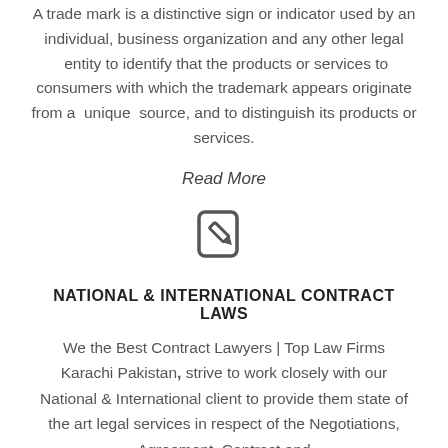A trade mark is a distinctive sign or indicator used by an individual, business organization and any other legal entity to identify that the products or services to consumers with which the trademark appears originate from a unique source, and to distinguish its products or services.
Read More
[Figure (illustration): An icon of a document with a pencil, representing editing or writing contracts.]
NATIONAL & INTERNATIONAL CONTRACT LAWS
We the Best Contract Lawyers | Top Law Firms Karachi Pakistan, strive to work closely with our National & International client to provide them state of the art legal services in respect of the Negotiations, Agreement, Contract and